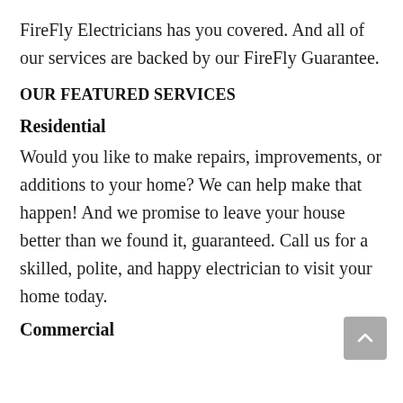FireFly Electricians has you covered. And all of our services are backed by our FireFly Guarantee.
OUR FEATURED SERVICES
Residential
Would you like to make repairs, improvements, or additions to your home? We can help make that happen! And we promise to leave your house better than we found it, guaranteed. Call us for a skilled, polite, and happy electrician to visit your home today.
Commercial